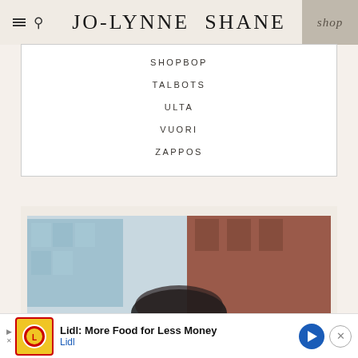JO-LYNNE SHANE | shop
SHOPBOP
TALBOTS
ULTA
VUORI
ZAPPOS
[Figure (photo): Outdoor photo showing person with dark hair, blurred brick building and glass building in background]
Lidl: More Food for Less Money | Lidl